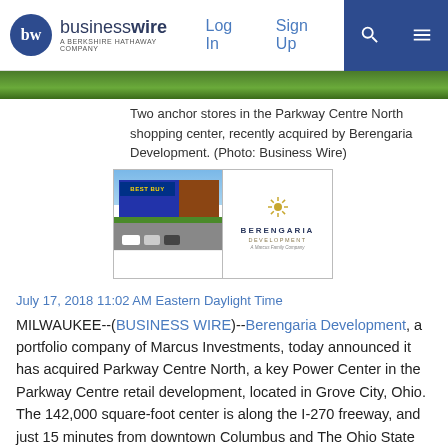businesswire — A Berkshire Hathaway Company | Log In | Sign Up
[Figure (photo): Partial top image showing green landscape/foliage, cropped at top of page]
Two anchor stores in the Parkway Centre North shopping center, recently acquired by Berengaria Development. (Photo: Business Wire)
[Figure (photo): Two thumbnail images side by side: left shows a Best Buy store exterior with parking lot; right shows the Berengaria Development logo (A Marcus Family Company)]
July 17, 2018 11:02 AM Eastern Daylight Time
MILWAUKEE--(BUSINESS WIRE)--Berengaria Development, a portfolio company of Marcus Investments, today announced it has acquired Parkway Centre North, a key Power Center in the Parkway Centre retail development, located in Grove City, Ohio. The 142,000 square-foot center is along the I-270 freeway, and just 15 minutes from downtown Columbus and The Ohio State University.